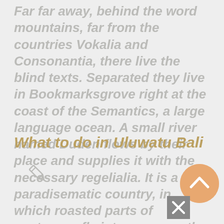Far far away, behind the word mountains, far from the countries Vokalia and Consonantia, there live the blind texts. Separated they live in Bookmarksgrove right at the coast of the Semantics, a large language ocean. A small river named Duden flows by their place and supplies it with the necessary regelialia. It is a paradisematic country, in which roasted parts of sentences fly into your mouth.
What to do in Uluwatu Bali
[Figure (illustration): Small pencil/edit icon]
[Figure (illustration): Peach/orange circular button with upward-pointing chevron arrow]
[Figure (illustration): Grey square close/X button]